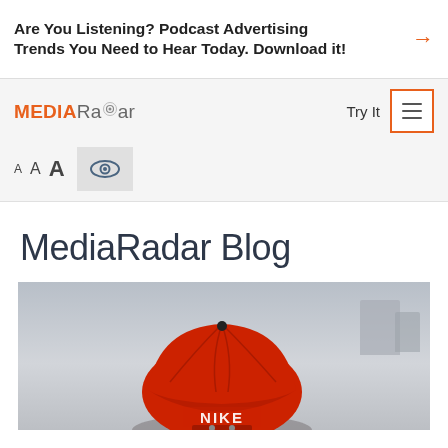Are You Listening? Podcast Advertising Trends You Need to Hear Today. Download it!
[Figure (screenshot): MediaRadar website navigation bar with logo, Try It text, and hamburger menu button with orange border. Below is an accessibility bar with font-size controls (A A A) and an eye icon button.]
MediaRadar Blog
[Figure (photo): Photo of a person wearing a red Nike baseball cap viewed from behind, with a blurred urban background. The Nike logo is visible on the back of the cap.]